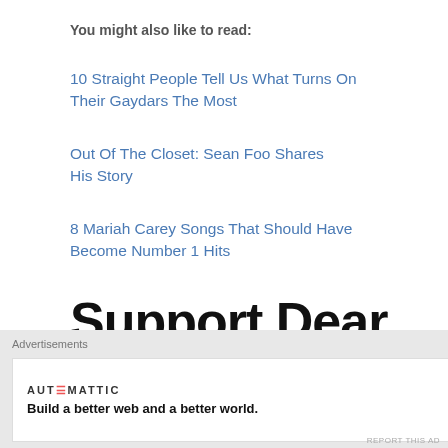You might also like to read:
10 Straight People Tell Us What Turns On Their Gaydars The Most
Out Of The Closet: Sean Foo Shares His Story
8 Mariah Carey Songs That Should Have Become Number 1 Hits
Support Dear
Advertisements
AUTOMATTIC
Build a better web and a better world.